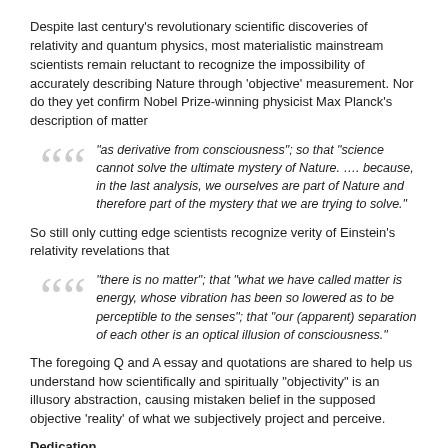Despite last century's revolutionary scientific discoveries of relativity and quantum physics, most materialistic mainstream scientists remain reluctant to recognize the impossibility of accurately describing Nature through 'objective' measurement. Nor do they yet confirm Nobel Prize-winning physicist Max Planck's description of matter
“as derivative from consciousness”; so that “science cannot solve the ultimate mystery of Nature.  …. because, in the last analysis, we ourselves are part of Nature and therefore part of the mystery that we are trying to solve.”
So still only cutting edge scientists recognize verity of Einstein’s relativity revelations that
“there is no matter”; that “what we have called matter is energy, whose vibration has been so lowered as to be perceptible to the senses”; that “our (apparent) separation of each other is an optical illusion of consciousness.”
The foregoing Q and A essay and quotations are shared to help us understand how scientifically and spiritually “objectivity” is an illusory abstraction, causing mistaken belief in the supposed objective ‘reality’ of what we subjectively project and perceive.
Dedication